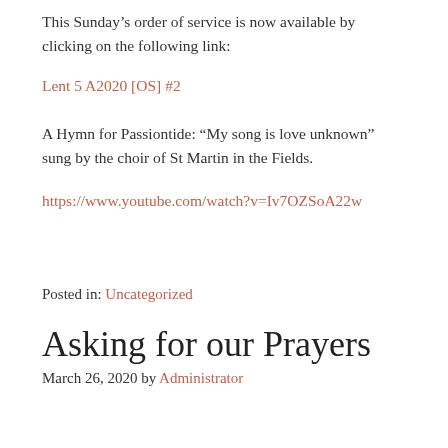This Sunday's order of service is now available by clicking on the following link:
Lent 5 A2020 [OS] #2
A Hymn for Passiontide: “My song is love unknown” sung by the choir of St Martin in the Fields.
https://www.youtube.com/watch?v=Iv7OZSoA22w
Posted in: Uncategorized
Asking for our Prayers
March 26, 2020 by Administrator